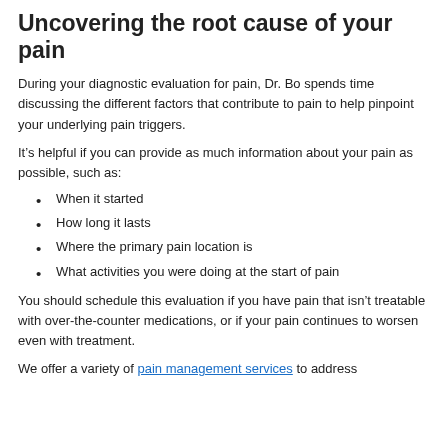Uncovering the root cause of your pain
During your diagnostic evaluation for pain, Dr. Bo spends time discussing the different factors that contribute to pain to help pinpoint your underlying pain triggers.
It’s helpful if you can provide as much information about your pain as possible, such as:
When it started
How long it lasts
Where the primary pain location is
What activities you were doing at the start of pain
You should schedule this evaluation if you have pain that isn’t treatable with over-the-counter medications, or if your pain continues to worsen even with treatment.
We offer a variety of pain management services to address